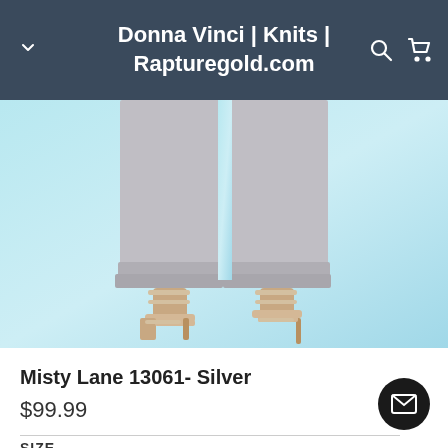Donna Vinci | Knits | Rapturegold.com
[Figure (photo): Lower half of a model wearing wide-leg silver/grey trousers with a double hem, paired with strappy gold high-heel sandals, on a light blue gradient background.]
Misty Lane 13061- Silver
$99.99
SIZE